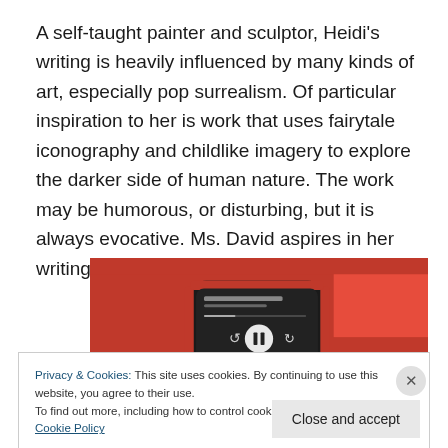A self-taught painter and sculptor, Heidi's writing is heavily influenced by many kinds of art, especially pop surrealism.  Of particular inspiration to her is work that uses fairytale iconography and childlike imagery to explore the darker side of human nature.  The work may be humorous, or disturbing, but it is always evocative.  Ms. David aspires in her writing to evoke similar responses.
[Figure (photo): A smartphone with a red case displaying a music player interface, against a red background.]
Privacy & Cookies: This site uses cookies. By continuing to use this website, you agree to their use.
To find out more, including how to control cookies, see here: Cookie Policy